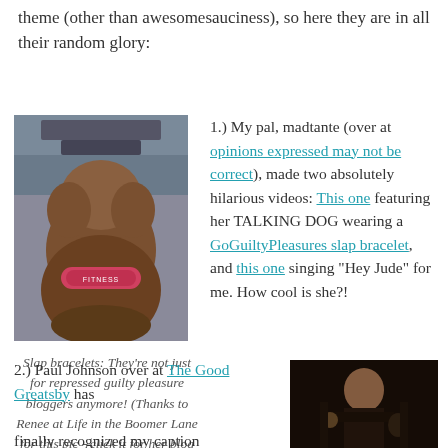theme (other than awesomesauciness), so here they are in all their random glory:
[Figure (photo): Dog viewed from behind wearing a pink slap bracelet around its neck, sitting at a desk/computer]
Slap bracelets: They're not just for repressed guilty pleasure bloggers anymore! (Thanks to Renee at Life in the Boomer Lane for this pic - click it for her blog link!)
1.) My pal, madtante (over at opinions expressed may not be correct), made two absolutely hilarious videos: This one featuring her TALKING DOG wearing a GoGuiltyPleasures slap bracelet, and this one singing "Hey Jude" for me. How cool is she?!
2.) Paul Johnson over at The Good Greatsby has finally recognized my caption writing prowess. If
[Figure (photo): Man in dark clothing sitting in a dimly lit setting, appears to be at a bar or restaurant]